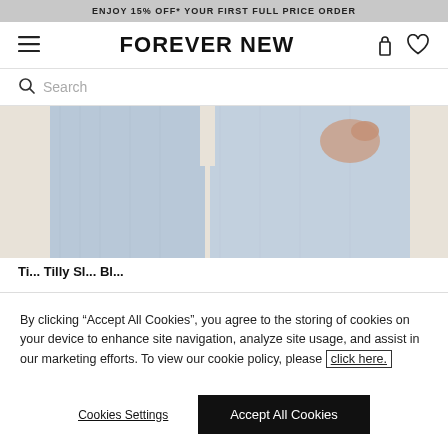ENJOY 15% OFF* YOUR FIRST FULL PRICE ORDER
FOREVER NEW
Search
[Figure (photo): Close-up photo of a person wearing light blue/grey denim jeans, cropped to show the lower torso and upper thighs, with one hand resting on the hip. Neutral beige background.]
By clicking “Accept All Cookies”, you agree to the storing of cookies on your device to enhance site navigation, analyze site usage, and assist in our marketing efforts. To view our cookie policy, please click here.
Cookies Settings
Accept All Cookies